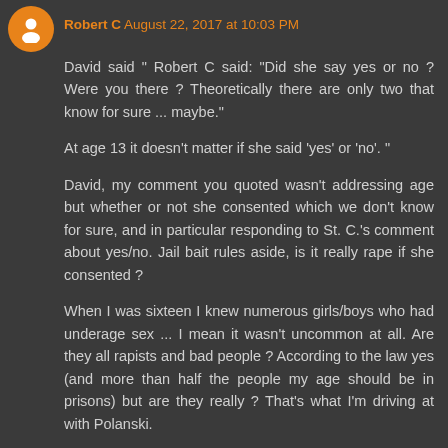Robert C August 22, 2017 at 10:03 PM
David said " Robert C said: "Did she say yes or no ? Were you there ? Theoretically there are only two that know for sure ... maybe."
At age 13 it doesn't matter if she said 'yes' or 'no'. "
David, my comment you quoted wasn't addressing age but whether or not she consented which we don't know for sure, and in particular responding to St. C.'s comment about yes/no. Jail bait rules aside, is it really rape if she consented ?
When I was sixteen I knew numerous girls/boys who had underage sex ... I mean it wasn't uncommon at all. Are they all rapists and bad people ? According to the law yes (and more than half the people my age should be in prisons) but are they really ? That's what I'm driving at with Polanski.
Reply